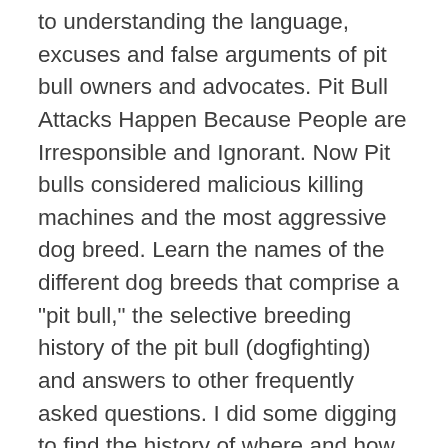to understanding the language, excuses and false arguments of pit bull owners and advocates. Pit Bull Attacks Happen Because People are Irresponsible and Ignorant. Now Pit bulls considered malicious killing machines and the most aggressive dog breed. Learn the names of the different dog breeds that comprise a "pit bull," the selective breeding history of the pit bull (dogfighting) and answers to other frequently asked questions. I did some digging to find the history of where and how it all went wrong and the reason why do pit bulls attack … Pit bulls, for instance, notoriously wag their tails with enthusiastic joy while dismembering a hapless victim whose first “warning” of the